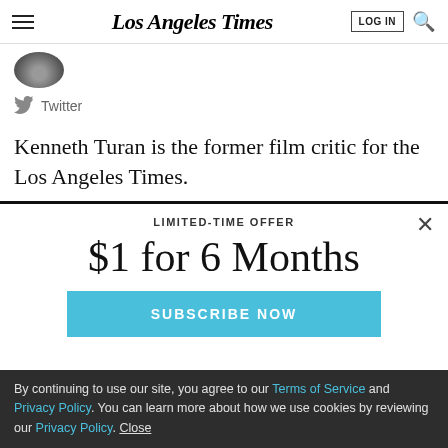Los Angeles Times
[Figure (photo): Partial circular author avatar photo, cropped at top]
Twitter
Kenneth Turan is the former film critic for the Los Angeles Times.
LIMITED-TIME OFFER
$1 for 6 Months
SUBSCRIBE NOW
By continuing to use our site, you agree to our Terms of Service and Privacy Policy. You can learn more about how we use cookies by reviewing our Privacy Policy. Close